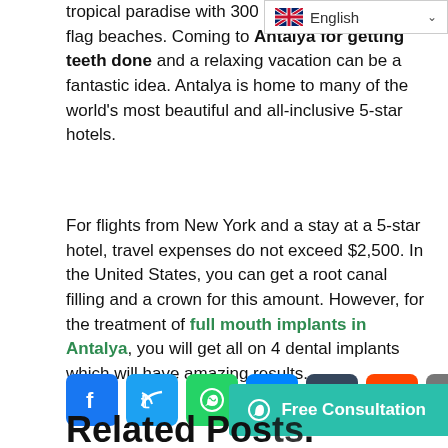[Figure (screenshot): Language selector dropdown showing UK flag and 'English' text with chevron]
tropical paradise with 300 d... and beautiful blue flag beaches. Coming to Antalya for getting teeth done and a relaxing vacation can be a fantastic idea. Antalya is home to many of the world's most beautiful and all-inclusive 5-star hotels.
For flights from New York and a stay at a 5-star hotel, travel expenses do not exceed $2,500. In the United States, you can get a root canal filling and a crown for this amount. However, for the treatment of full mouth implants in Antalya, you will get all on 4 dental implants which will have amazing results.
[Figure (other): Social sharing icons row: Facebook, Twitter, WhatsApp, Messenger, Tumblr, Reddit, Share]
[Figure (other): Free Consultation button with WhatsApp icon]
Related Posts